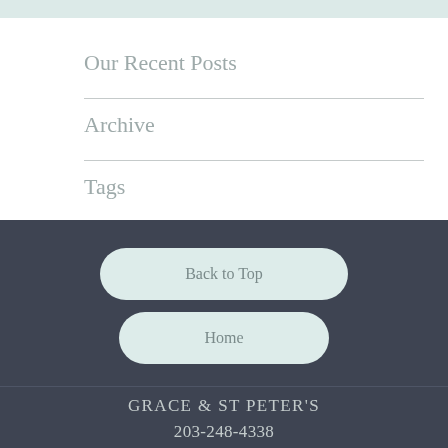Our Recent Posts
Archive
Tags
Back to Top
Home
GRACE & ST PETER'S
203-248-4338